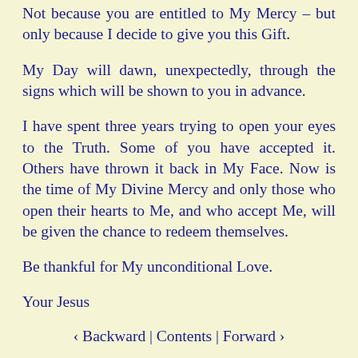Not because you are entitled to My Mercy – but only because I decide to give you this Gift.
My Day will dawn, unexpectedly, through the signs which will be shown to you in advance.
I have spent three years trying to open your eyes to the Truth. Some of you have accepted it. Others have thrown it back in My Face. Now is the time of My Divine Mercy and only those who open their hearts to Me, and who accept Me, will be given the chance to redeem themselves.
Be thankful for My unconditional Love.
Your Jesus
‹ Backward | Contents | Forward ›